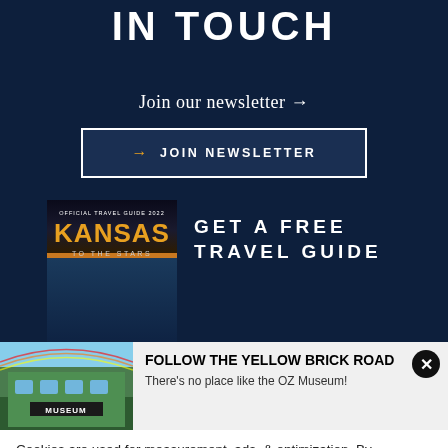IN TOUCH
Join our newsletter →
→ JOIN NEWSLETTER
[Figure (illustration): Kansas Official Travel Guide book cover with 'KANSAS TO THE STARS' text in gold on dark background]
GET A FREE TRAVEL GUIDE
[Figure (photo): Green building with 'MUSEUM' sign, the OZ Museum, with rainbow in sky]
FOLLOW THE YELLOW BRICK ROAD
There's no place like the OZ Museum!
Cookies are used for measurement, ads, & optimization. By continuing to use our site you are agreeing to our privacy policy.
→ ACCEPT
MEDIA   ABOUT US   CONTACT   SITEMAP